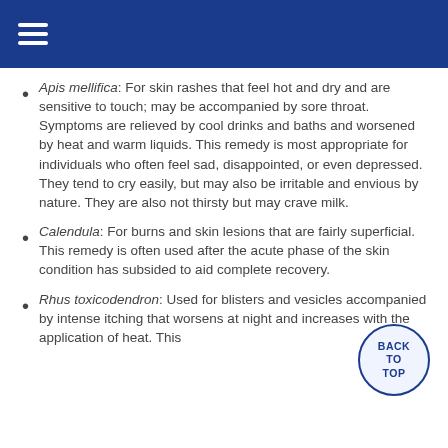≡ (hamburger menu)
Apis mellifica: For skin rashes that feel hot and dry and are sensitive to touch; may be accompanied by sore throat. Symptoms are relieved by cool drinks and baths and worsened by heat and warm liquids. This remedy is most appropriate for individuals who often feel sad, disappointed, or even depressed. They tend to cry easily, but may also be irritable and envious by nature. They are also not thirsty but may crave milk.
Calendula: For burns and skin lesions that are fairly superficial. This remedy is often used after the acute phase of the skin condition has subsided to aid complete recovery.
Rhus toxicodendron: Used for blisters and vesicles accompanied by intense itching that worsens at night and increases with the application of heat. This